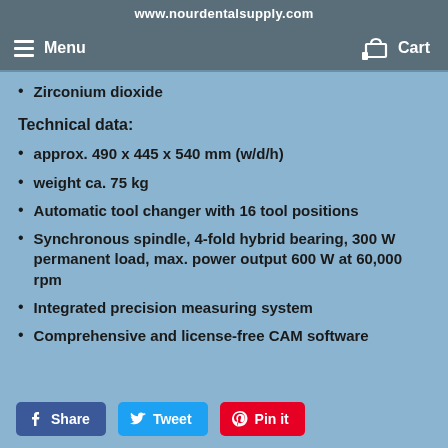www.nourdentalsupply.com
Zirconium dioxide
Technical data:
approx. 490 x 445 x 540 mm (w/d/h)
weight ca. 75 kg
Automatic tool changer with 16 tool positions
Synchronous spindle, 4-fold hybrid bearing, 300 W permanent load, max. power output 600 W at 60,000 rpm
Integrated precision measuring system
Comprehensive and license-free CAM software